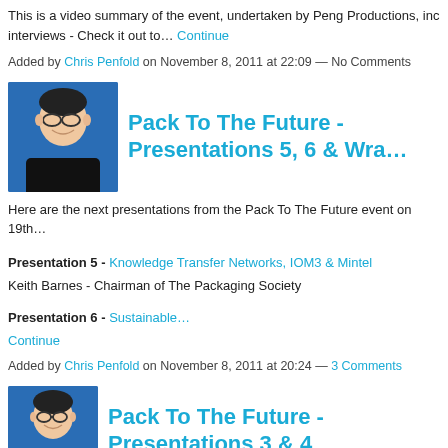This is a video summary of the event, undertaken by Peng Productions, inc interviews - Check it out to… Continue
Added by Chris Penfold on November 8, 2011 at 22:09 — No Comments
[Figure (photo): Avatar photo of a man with glasses and dark jacket against blue background]
Pack To The Future - Presentations 5, 6 & Wra…
Here are the next presentations from the Pack To The Future event on 19th…
Presentation 5 - Knowledge Transfer Networks, IOM3 & Mintel
Keith Barnes - Chairman of The Packaging Society
Presentation 6 - Sustainable…
Continue
Added by Chris Penfold on November 8, 2011 at 20:24 — 3 Comments
[Figure (photo): Avatar photo of a man with glasses and dark jacket against blue background]
Pack To The Future - Presentations 3 & 4
Here are the next presentations from the Pack To The Future event on 19th…
Presentation 3 – Packaging at the Hive - Chris Hill.pdf
Christopher Hall, Hive Packaging, a Nottingham Trent University…